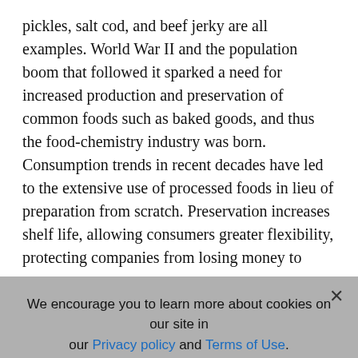pickles, salt cod, and beef jerky are all examples. World War II and the population boom that followed it sparked a need for increased production and preservation of common foods such as baked goods, and thus the food-chemistry industry was born. Consumption trends in recent decades have led to the extensive use of processed foods in lieu of preparation from scratch. Preservation increases shelf life, allowing consumers greater flexibility, protecting companies from losing money to
Support The World's Smartest Network
Help the New York Academy of Sciences bring late-breaking scientific information about the COVID-19 pandemic to global audiences. Please make a tax-deductible gift today.
DONATE
We encourage you to learn more about cookies on our site in our Privacy policy and Terms of Use.